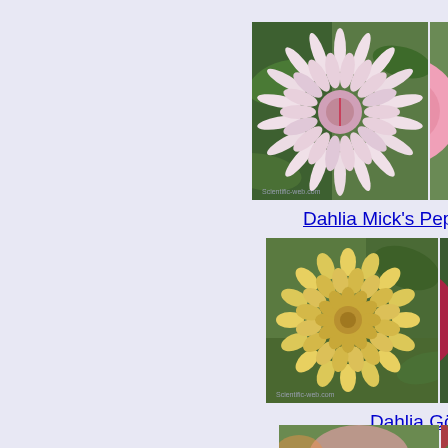[Figure (photo): Photo of Dahlia Mick's Peppermint flower - a spiky pink and white dahlia bloom against green foliage background]
[Figure (photo): Partial photo of a pink round dahlia flower, cut off at right edge]
Dahlia Mick's Peppermint
[Figure (photo): Photo of a yellow pompom dahlia flower (Dahlia Gödöllő) against green foliage]
[Figure (photo): Partial photo of a red/dark pink pompom dahlia flower, cut off at right edge]
Dahlia Gödöllő
[Figure (photo): Partial bottom strip of dahlia flower photos]